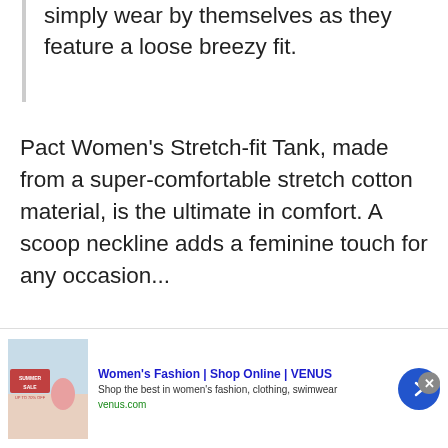simply wear by themselves as they feature a loose breezy fit.
Pact Women's Stretch-fit Tank, made from a super-comfortable stretch cotton material, is the ultimate in comfort. A scoop neckline adds a feminine touch for any occasion...
Best Women's Stretch-fit...
[Figure (screenshot): Advertisement banner for Venus women's fashion. Shows a thumbnail image of a summer sale promotion with a woman in pink, ad title 'Women's Fashion | Shop Online | VENUS', subtitle 'Shop the best in women's fashion, clothing, swimwear', URL 'venus.com', close button, and a blue arrow button.]